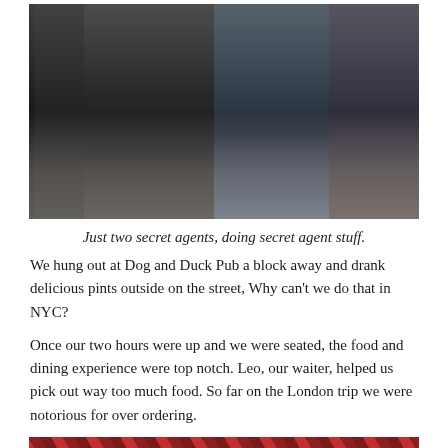[Figure (photo): Street photo showing two or three people standing outside on a sidewalk near a dark doorway, wearing jackets and jeans]
Just two secret agents, doing secret agent stuff.
We hung out at Dog and Duck Pub a block away and drank delicious pints outside on the street, Why can't we do that in NYC?
Once our two hours were up and we were seated, the food and dining experience were top notch. Leo, our waiter, helped us pick out way too much food. So far on the London trip we were notorious for over ordering.
[Figure (photo): Partial photo of food on a table, showing colorful dishes, cut off at bottom of page]